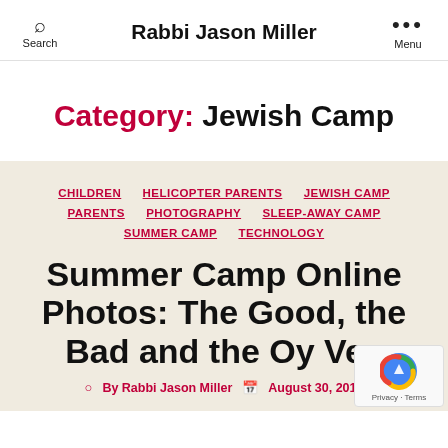Rabbi Jason Miller
Category: Jewish Camp
CHILDREN  HELICOPTER PARENTS  JEWISH CAMP  PARENTS  PHOTOGRAPHY  SLEEP-AWAY CAMP  SUMMER CAMP  TECHNOLOGY
Summer Camp Online Photos: The Good, the Bad and the Oy Vey
By Rabbi Jason Miller  August 30, 2013